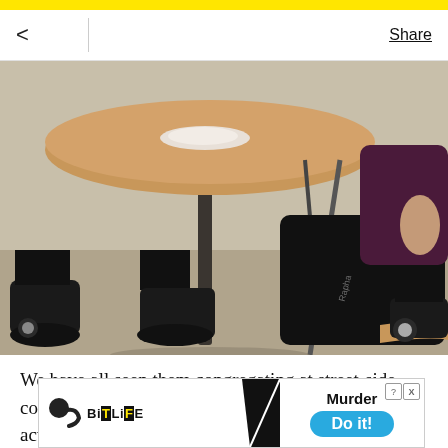< Share
[Figure (photo): Cyclists in black cycling gear and black cycling shoes sitting at a round wooden table at a street-side coffee shop. The image shows their legs and lower bodies, highlighting cycling shorts and shoes.]
We have all seen them congregating at street-side coffee shops and, fun fact, turns out those guys actually, we
[Figure (infographic): BitLife advertisement banner showing the BitLife logo (sperm icon with 'BitLiFE' text) on the left and a 'Murder Do it!' prompt on a blue button on the right, with a close button (X) in the corner.]